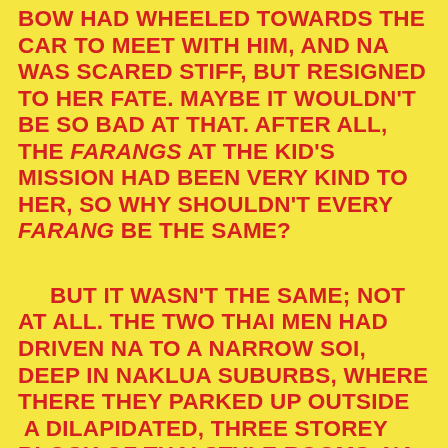BOW HAD WHEELED TOWARDS THE CAR TO MEET WITH HIM, AND NA WAS SCARED STIFF, BUT RESIGNED TO HER FATE. MAYBE IT WOULDN'T BE SO BAD AT THAT. AFTER ALL, THE FARANGS AT THE KID'S MISSION HAD BEEN VERY KIND TO HER, SO WHY SHOULDN'T EVERY FARANG BE THE SAME?
BUT IT WASN'T THE SAME; NOT AT ALL. THE TWO THAI MEN HAD DRIVEN NA TO A NARROW SOI, DEEP IN NAKLUA SUBURBS, WHERE THERE THEY PARKED UP OUTSIDE A DILAPIDATED, THREE STOREY BLOCK OF THAI STYLE ROOMS. NA WAS TAKEN UP TO THE THIRD FLOOR WHERE SHE WAS DELIVERED TO THE BIGGEST, UGLIEST LOOKING MAN SHE HAD EVER SEEN IN HER LIFE